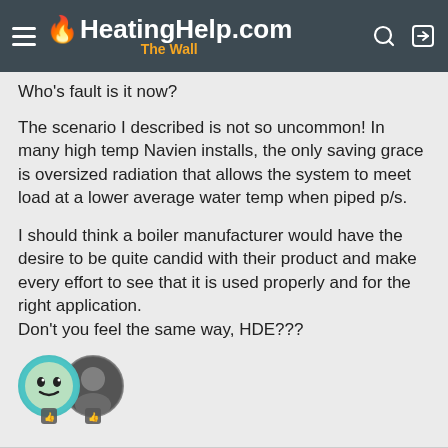HeatingHelp.com The Wall
Who's fault is it now?
The scenario I described is not so uncommon! In many high temp Navien installs, the only saving grace is oversized radiation that allows the system to meet load at a lower average water temp when piped p/s.
I should think a boiler manufacturer would have the desire to be quite candid with their product and make every effort to see that it is used properly and for the right application.
Don't you feel the same way, HDE???
[Figure (illustration): Two overlapping user avatar circles — a teal green cartoon face avatar and a dark photo avatar — with small thumbs-up like icons beneath each]